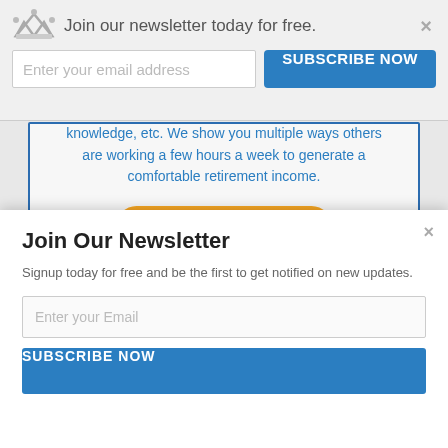Join our newsletter today for free.
[Figure (screenshot): Email input field with placeholder 'Enter your email address']
SUBSCRIBE NOW
knowledge, etc. We show you multiple ways others are working a few hours a week to generate a comfortable retirement income.
[Figure (screenshot): Orange rounded button: Download Free Copy]
LATEST POSTS
Join Our Newsletter
Signup today for free and be the first to get notified on new updates.
[Figure (screenshot): Email input field with placeholder 'Enter your Email']
SUBSCRIBE NOW